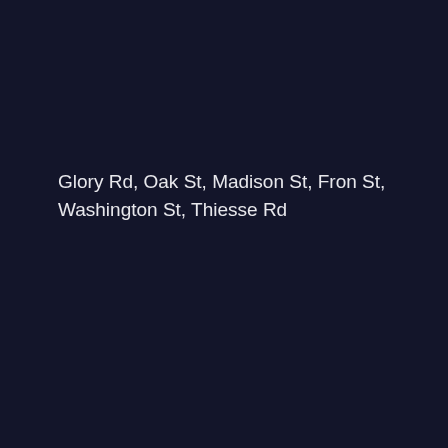Glory Rd, Oak St, Madison St, Fron St, Washington St, Thiesse Rd